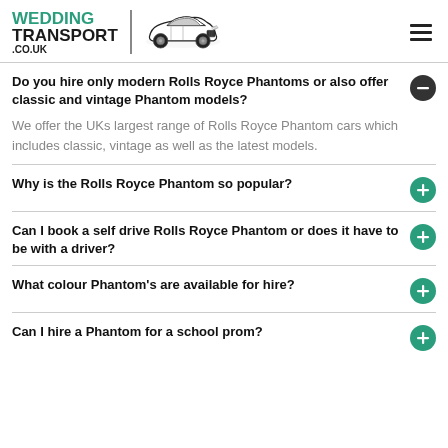WEDDING TRANSPORT .CO.UK
Do you hire only modern Rolls Royce Phantoms or also offer classic and vintage Phantom models?
We offer the UKs largest range of Rolls Royce Phantom cars which includes classic, vintage as well as the latest models.
Why is the Rolls Royce Phantom so popular?
Can I book a self drive Rolls Royce Phantom or does it have to be with a driver?
What colour Phantom's are available for hire?
Can I hire a Phantom for a school prom?